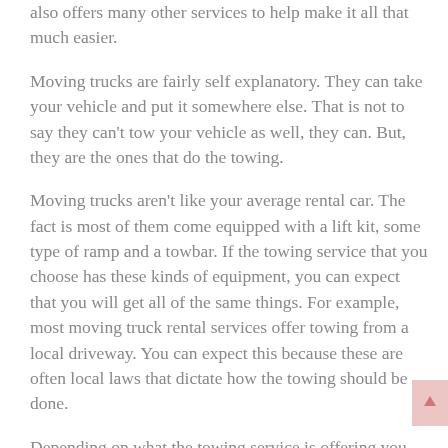also offers many other services to help make it all that much easier.
Moving trucks are fairly self explanatory. They can take your vehicle and put it somewhere else. That is not to say they can't tow your vehicle as well, they can. But, they are the ones that do the towing.
Moving trucks aren't like your average rental car. The fact is most of them come equipped with a lift kit, some type of ramp and a towbar. If the towing service that you choose has these kinds of equipment, you can expect that you will get all of the same things. For example, most moving truck rental services offer towing from a local driveway. You can expect this because these are often local laws that dictate how the towing should be done.
Depending on what the towing service is offering you could be getting a few different things. You may be able to rent the vehicle for a short period of time, or if it is available you